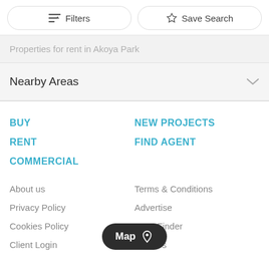[Figure (screenshot): Filters button with filter icon]
[Figure (screenshot): Save Search button with star icon]
Properties for rent in Akoya Park
Nearby Areas
BUY
NEW PROJECTS
RENT
FIND AGENT
COMMERCIAL
About us
Terms & Conditions
Privacy Policy
Advertise
Cookies Policy
gage Finder
Client Login
Careers
[Figure (screenshot): Map pill button with location pin icon]